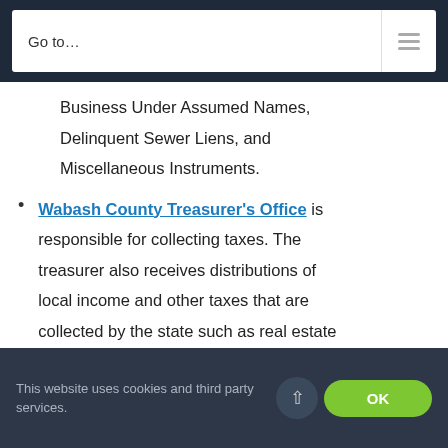Go to…
Business Under Assumed Names, Delinquent Sewer Liens, and Miscellaneous Instruments.
Wabash County Treasurer's Office is responsible for collecting taxes. The treasurer also receives distributions of local income and other taxes that are collected by the state such as real estate tax, personal property tax, mobile home tax, state assessed tax, and the following miscellaneous taxes: auto excise tax,
This website uses cookies and third party services.